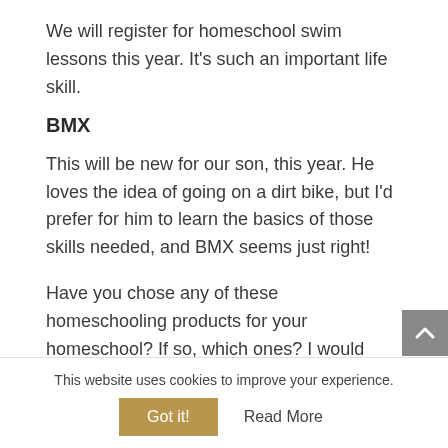We will register for homeschool swim lessons this year. It’s such an important life skill.
BMX
This will be new for our son, this year. He loves the idea of going on a dirt bike, but I’d prefer for him to learn the basics of those skills needed, and BMX seems just right!
Have you chose any of these homeschooling products for your homeschool? If so, which ones? I would love to know if you’d like a review
This website uses cookies to improve your experience.